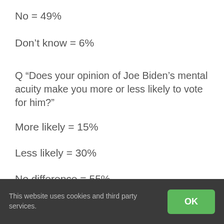No = 49%
Don't know = 6%
Q “Does your opinion of Joe Biden’s mental acuity make you more or less likely to vote for him?”
More likely = 15%
Less likely = 30%
No difference = 55%
Leadership
This website uses cookies and third party services.